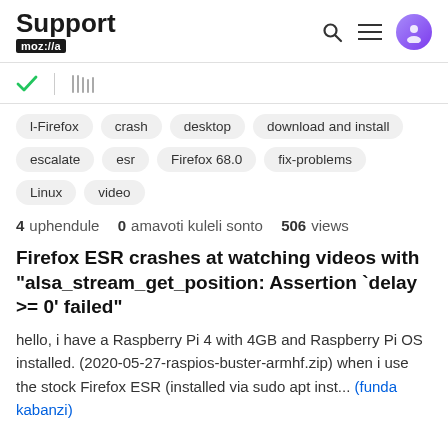Support mozilla// [search, menu, user icons]
[Figure (screenshot): Toolbar with green checkmark, divider, and library/shelves icon]
l-Firefox
crash
desktop
download and install
escalate
esr
Firefox 68.0
fix-problems
Linux
video
4 uphendule  0 amavoti kuleli sonto  506 views
Firefox ESR crashes at watching videos with "alsa_stream_get_position: Assertion `delay >= 0' failed"
hello, i have a Raspberry Pi 4 with 4GB and Raspberry Pi OS installed. (2020-05-27-raspios-buster-armhf.zip) when i use the stock Firefox ESR (installed via sudo apt inst... (funda kabanzi)